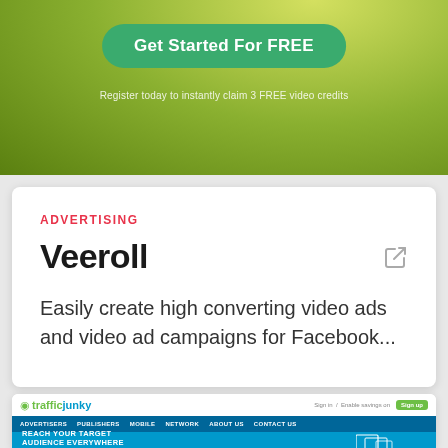[Figure (screenshot): Top banner with green grass background, 'Get Started For FREE' button in green, and subtext 'Register today to instantly claim 3 FREE video credits']
ADVERTISING
Veeroll
Easily create high converting video ads and video ad campaigns for Facebook...
↑ UPVOTE 36
[Figure (screenshot): TrafficJunky website screenshot showing logo, navigation bar with Advertisers, Publishers, Mobile, Network, About Us, Contact Us, and hero section with text 'REACH YOUR TARGET AUDIENCE EVERYWHERE']